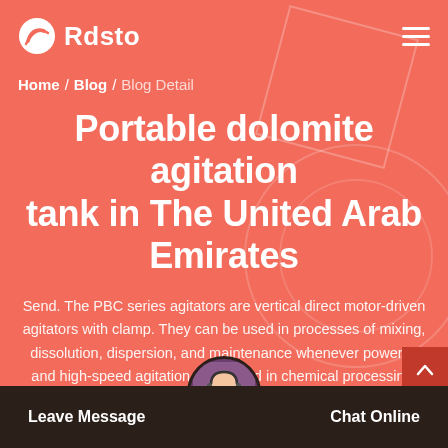Rdsto
Home / Blog / Blog Detail
Portable dolomite agitation tank in The United Arab Emirates
Send. The PBC series agitators are vertical direct motor-driven agitators with clamp. They can be used in processes of mixing, dissolution, dispersion, and maintenance whenever powerful and high-speed agitation is required in chemical processing, cosmetics, pharmaceutical, food industries and others.
Leave Message  Chat Online